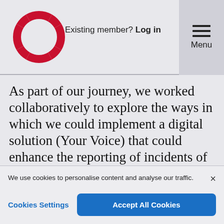[Figure (logo): Red segmented circular logo (NHS/health organization)]
Existing member? Log in
Menu
As part of our journey, we worked collaboratively to explore the ways in which we could implement a digital solution (Your Voice) that could enhance the reporting of incidents of bullying and harassment across our Integrated Care System (ICS).  This work formed one of our seven priorities (2021-22) as part of our LLP System People Plan and was enabled by our
We use cookies to personalise content and analyse our traffic.
Cookies Settings
Accept All Cookies